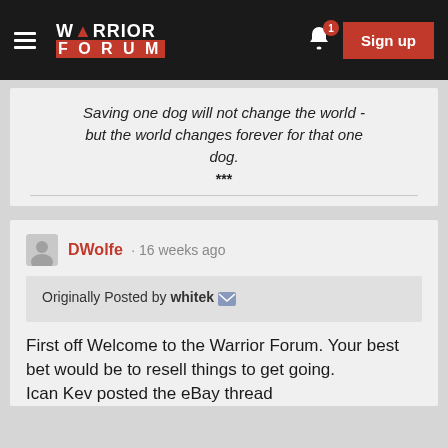WARRIOR FORUM — Sign up
Saving one dog will not change the world - but the world changes forever for that one dog.
***
DWolfe · 16 weeks ago
Originally Posted by whitek
First off Welcome to the Warrior Forum. Your best bet would be to resell things to get going.
Ican Kev posted the eBay thread